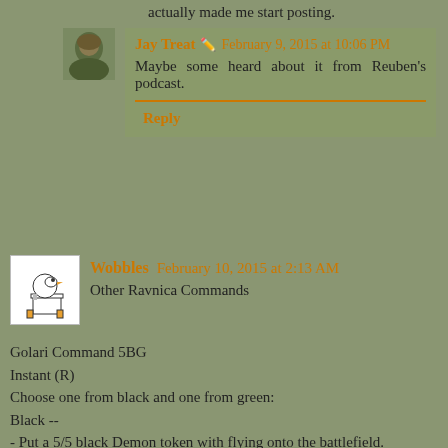actually made me start posting.
Jay Treat · February 9, 2015 at 10:06 PM
Maybe some heard about it from Reuben's podcast.
Reply
Wobbles February 10, 2015 at 2:13 AM
Other Ravnica Commands
Golari Command 5BG
Instant (R)
Choose one from black and one from green:
Black --
- Put a 5/5 black Demon token with flying onto the battlefield.
- This turn creatures you control have first strike and deathtouch.